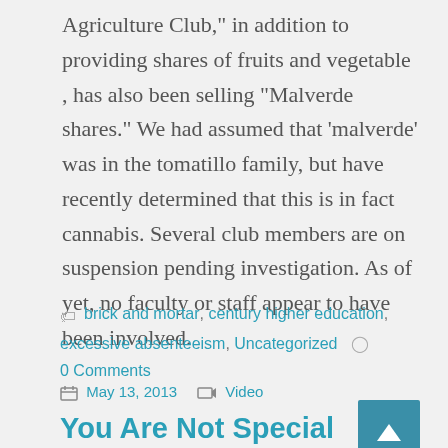Agriculture Club," in addition to providing shares of fruits and vegetable , has also been selling "Malverde shares." We had assumed that 'malverde' was in the tomatillo family, but have recently determined that this is in fact cannabis. Several club members are on suspension pending investigation. As of yet, no faculty or staff appear to have been involved.
brick and mortar, century higher education, excessive absenteeism, Uncategorized   0 Comments
[Figure (other): Teal scroll-to-top button with upward arrow]
May 13, 2013   Video
You Are Not Special